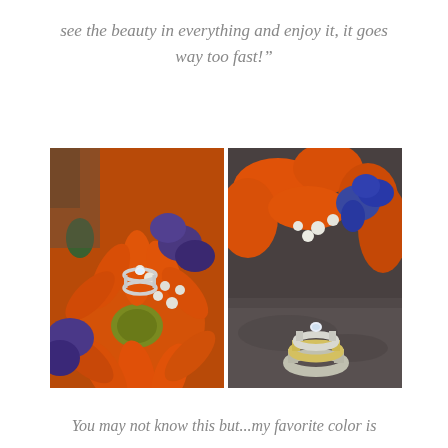see the beauty in everything and enjoy it, it goes way too fast!"
[Figure (photo): Two side-by-side wedding photography images. Left: close-up of a diamond engagement ring resting on orange gerbera daisies with purple flowers and white wax flowers. Right: wedding rings stacked on a stone surface with orange flowers and purple flowers in the soft-focused background.]
You may not know this but...my favorite color is